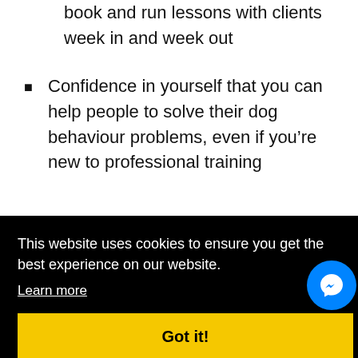book and run lessons with clients week in and week out
Confidence in yourself that you can help people to solve their dog behaviour problems, even if you're new to professional training
This website uses cookies to ensure you get the best experience on our website.
Learn more
Got it!